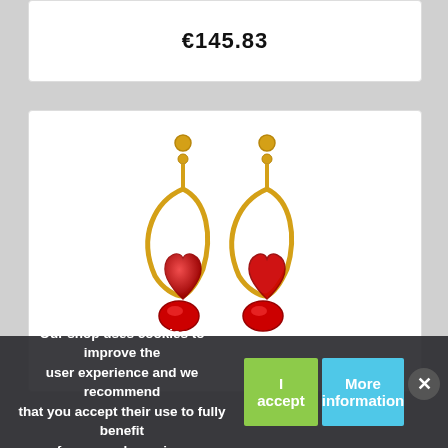€145.83
[Figure (photo): Gold drop earrings with red heart-shaped gemstones, butterfly-wing style gold frame, product photo on white background]
Our shop uses cookies to improve the user experience and we recommend that you accept their use to fully benefit from your browsing. | I accept | More information | ✕